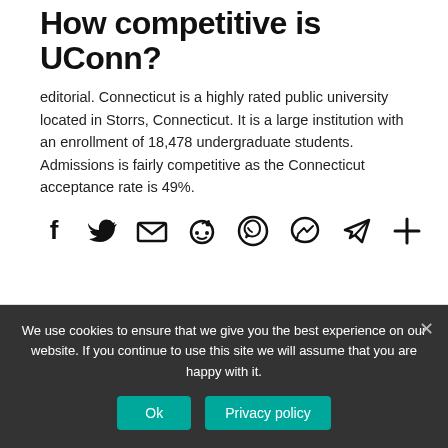How competitive is UConn?
editorial. Connecticut is a highly rated public university located in Storrs, Connecticut. It is a large institution with an enrollment of 18,478 undergraduate students. Admissions is fairly competitive as the Connecticut acceptance rate is 49%.
[Figure (infographic): Social media share icons: Facebook, Twitter, Email, Reddit, WhatsApp, Messenger, Telegram, More (plus)]
We use cookies to ensure that we give you the best experience on our website. If you continue to use this site we will assume that you are happy with it.